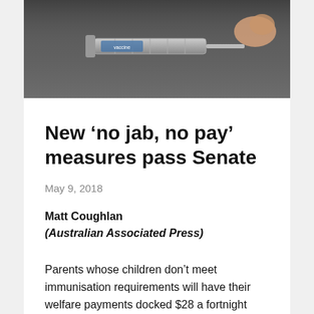[Figure (photo): Close-up black and white photo of a medical syringe on a dark surface with a finger in the background]
New ‘no jab, no pay’ measures pass Senate
May 9, 2018
Matt Coughlan
(Australian Associated Press)
Parents whose children don’t meet immunisation requirements will have their welfare payments docked $28 a fortnight after legislation cleared parliament.
Under the federal government’s tougher “no jab,